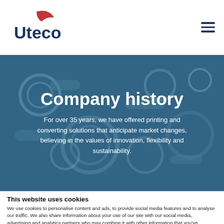Uteco
[Figure (screenshot): Uteco logo with red leaf/wing shape above 'Uteco' text in dark navy blue]
Company history
For over 35 years, we have offered printing and converting solutions that anticipate market changes, believing in the values of innovation, flexibility and sustainability.
This website uses cookies
We use cookies to personalise content and ads, to provide social media features and to analyse our traffic. We also share information about your use of our site with our social media, advertising and analytics partners who may combine it with other information that you've provided to them or that they've collected from your use of their services.
OK
Show details